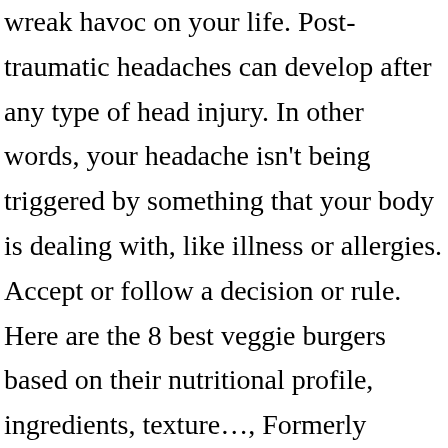wreak havoc on your life. Post-traumatic headaches can develop after any type of head injury. In other words, your headache isn't being triggered by something that your body is dealing with, like illness or allergies. Accept or follow a decision or rule. Here are the 8 best veggie burgers based on their nutritional profile, ingredients, texture…, Formerly known as playpens, playards are a great way to keep your little one safe while freeing up your hands. © 2005-2021 Healthline Media a Red Ventures Company. Here's what may behind your symptoms. This medication will